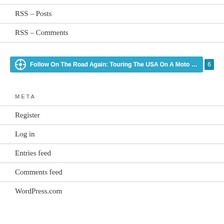RSS – Posts
RSS – Comments
[Figure (other): WordPress Follow button bar: Follow On The Road Again: Touring The USA On A Moto Guzzi Breva]
META
Register
Log in
Entries feed
Comments feed
WordPress.com